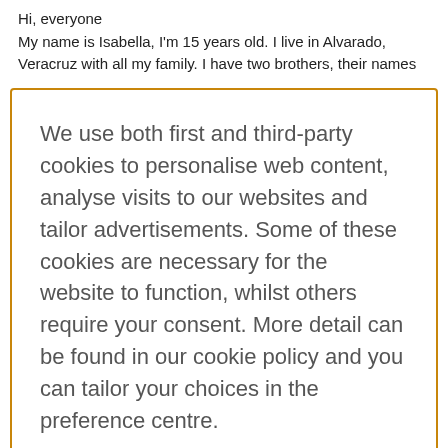Hi, everyone
My name is Isabella, I'm 15 years old. I live in Alvarado, Veracruz with all my family. I have two brothers, their names...
We use both first and third-party cookies to personalise web content, analyse visits to our websites and tailor advertisements. Some of these cookies are necessary for the website to function, whilst others require your consent. More detail can be found in our cookie policy and you can tailor your choices in the preference centre.
Accept All Cookies
Cookies Settings